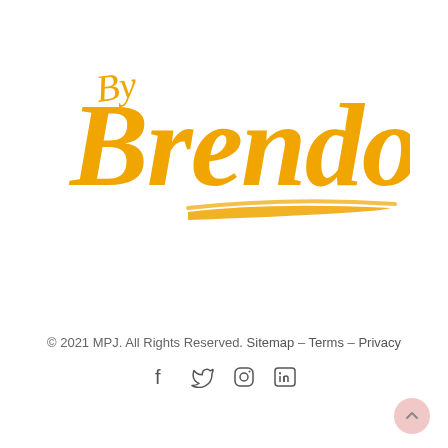[Figure (logo): By Brendo handwritten script logo in orange/golden color with underline brushstroke]
© 2021 MPJ. All Rights Reserved. Sitemap – Terms – Privacy
[Figure (other): Social media icons: Facebook, Twitter, Instagram, LinkedIn]